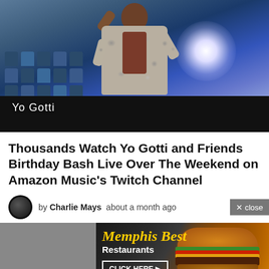[Figure (photo): Concert photo of Yo Gotti performing on stage, holding a microphone, wearing a camouflage jacket, with blue stage lighting and spotlight in background. Text overlay reads 'Yo Gotti' in lower left.]
Thousands Watch Yo Gotti and Friends Birthday Bash Live Over The Weekend on Amazon Music's Twitch Channel
by Charlie Mays  about a month ago
[Figure (photo): Advertisement for 'Memphis Best Restaurants' featuring a burger image on a dark/orange gradient background, with a 'CLICK HERE' button.]